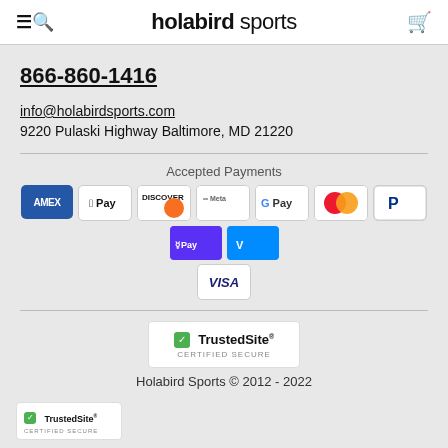holabird sports
866-860-1416
info@holabirdsports.com
9220 Pulaski Highway Baltimore, MD 21220
[Figure (infographic): Accepted Payments section showing logos for AMEX, Apple Pay, Discover, Meta, Google Pay, Mastercard, PayPal, Shop Pay, Venmo, and Visa]
[Figure (logo): TrustedSite Certified Secure badge (large, centered)]
Holabird Sports © 2012 - 2022
[Figure (logo): TrustedSite Certified Secure badge (small, bottom left)]